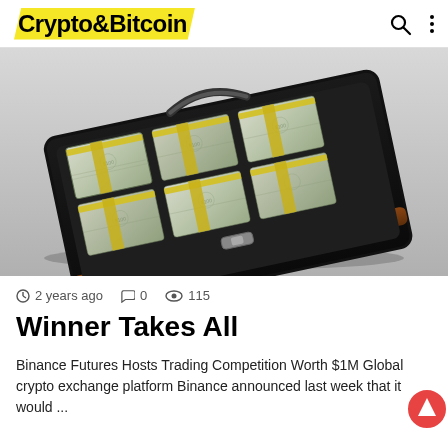Crypto&Bitcoin
[Figure (photo): Open briefcase filled with stacks of US dollar bills bundled with yellow bands, on a light gray background]
2 years ago   0   115
Winner Takes All
Binance Futures Hosts Trading Competition Worth $1M Global crypto exchange platform Binance announced last week that it would ...